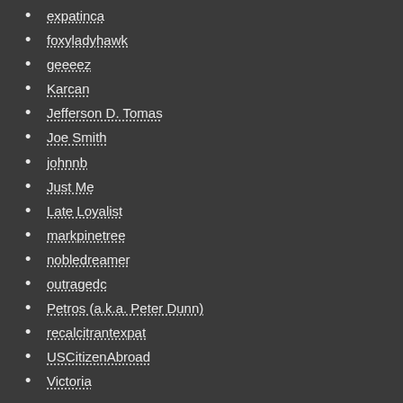expatinca
foxyladyhawk
geeeez
Karcan
Jefferson D. Tomas
Joe Smith
johnnb
Just Me
Late Loyalist
markpinetree
nobledreamer
outragedc
Petros (a.k.a. Peter Dunn)
recalcitrantexpat
USCitizenAbroad
Victoria
External Resources
ACA Citizenship-based vs Resident-based Taxation video
Alliance for the Defence of Canadian Sovereignty website
Alliance for the Defence of Canadian Sovereignty blog
Allison Christians blog, Tax Society & Culture